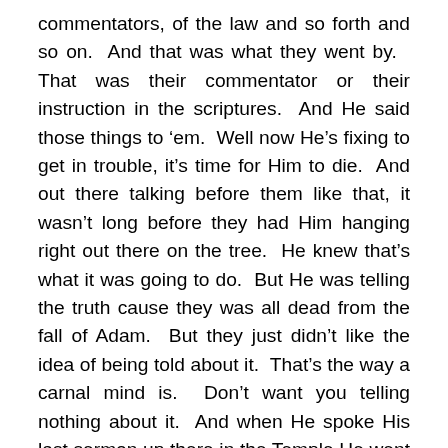commentators, of the law and so forth and so on.  And that was what they went by.   That was their commentator or their instruction in the scriptures.  And He said those things to 'em.  Well now He's fixing to get in trouble, it's time for Him to die.  And out there talking before them like that, it wasn't long before they had Him hanging right out there on the tree.  He knew that's what it was going to do.  But He was telling the truth cause they was all dead from the fall of Adam.  But they just didn't like the idea of being told about it.  That's the way a carnal mind is.  Don't want you telling nothing about it.  And when He spoke His last sermon up there in the Temple He went out and this is what He said, 'behold your house.'  All before that He called it, 'don't you make My Father's house a den of thieves,' when they was up there selling oxen and turtle doves and sacrificial beasts for offerings and overturned the tables of the money changers with the cords and drove 'em out of there, out there in the Court of the Gentilos, it was the outside